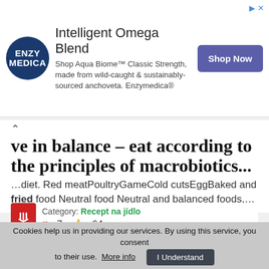[Figure (other): Enzymedica advertisement banner with logo, text, and Shop Now button. Logo: dark blue circle with ENZY MEDICA text. Title: Intelligent Omega Blend. Body: Shop Aqua Biome™ Classic Strength, made from wild-caught & sustainably-sourced anchoveta. Enzymedica®]
ve in balance – eat according to the principles of macrobiotics...
...diet. Red meatPoultryGameCold cutsEggBaked and fried food Neutral food Neutral and balanced foods,...
Category: Recept na jídlo ♥ 7 👍 64
[Figure (photo): Food photo showing golden fried/baked food items with herbs, on a light background.]
Cookies help us in providing our services. By using this service, you consent to their use. More info  I Understand